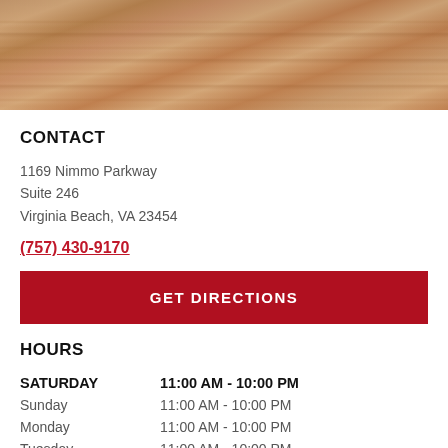[Figure (photo): Wood grain texture background image at top of page]
CONTACT
1169 Nimmo Parkway
Suite 246
Virginia Beach, VA 23454
(757) 430-9170
GET DIRECTIONS
HOURS
| Day | Hours |
| --- | --- |
| SATURDAY | 11:00 AM - 10:00 PM |
| Sunday | 11:00 AM - 10:00 PM |
| Monday | 11:00 AM - 10:00 PM |
| Tuesday | 11:00 AM - 10:00 PM |